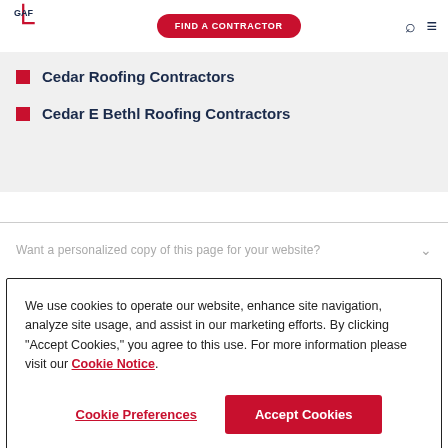GAF | FIND A CONTRACTOR
Cedar Roofing Contractors
Cedar E Bethl Roofing Contractors
Want a personalized copy of this page for your website?
We use cookies to operate our website, enhance site navigation, analyze site usage, and assist in our marketing efforts. By clicking "Accept Cookies," you agree to this use. For more information please visit our Cookie Notice.
Cookie Preferences | Accept Cookies